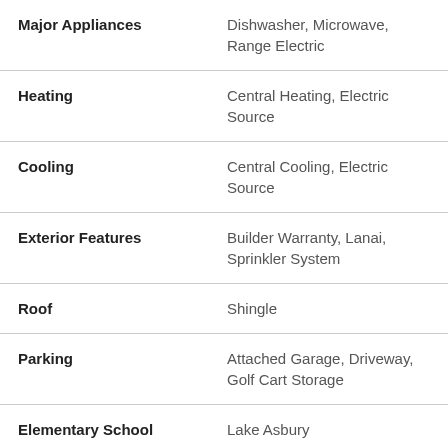| Feature | Value |
| --- | --- |
| Major Appliances | Dishwasher, Microwave, Range Electric |
| Heating | Central Heating, Electric Source |
| Cooling | Central Cooling, Electric Source |
| Exterior Features | Builder Warranty, Lanai, Sprinkler System |
| Roof | Shingle |
| Parking | Attached Garage, Driveway, Golf Cart Storage |
| Elementary School | Lake Asbury |
| Middle School | Lake Asbury |